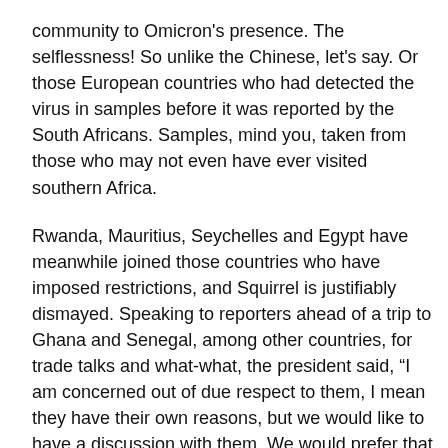community to Omicron's presence. The selflessness! So unlike the Chinese, let's say. Or those European countries who had detected the virus in samples before it was reported by the South Africans. Samples, mind you, taken from those who may not even have ever visited southern Africa.
Rwanda, Mauritius, Seychelles and Egypt have meanwhile joined those countries who have imposed restrictions, and Squirrel is justifiably dismayed. Speaking to reporters ahead of a trip to Ghana and Senegal, among other countries, for trade talks and what-what, the president said, “I am concerned out of due respect to them, I mean they have their own reasons, but we would like to have a discussion with them. We would prefer that they do not react like our former colonisers who are very quick to close Africa down. Because I think that it's most unfortunate that they too have joined in this. We hold the view that it's unscientific, and we would have liked them to be a lot more scientific so that we are able to find solutions and answers.”
Well, to be fair, the answers will come. Little is known of Omicron, but that will soon change. Initial observations suggest the symptoms are mild, but the plague spotters here are keeping very